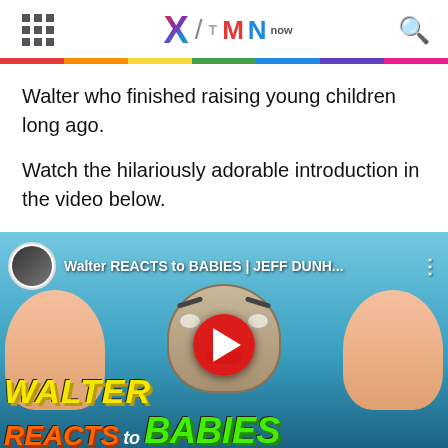X / TMN now
Walter who finished raising young children long ago.
Watch the hilariously adorable introduction in the video below.
[Figure (screenshot): YouTube video embed thumbnail showing 'Walter REACTS to BABIES | JEFF DUNH...' with a puppet face flanked by two babies, a red YouTube play button, and colorful text reading WALTER REACTS TO BABIES at the bottom.]